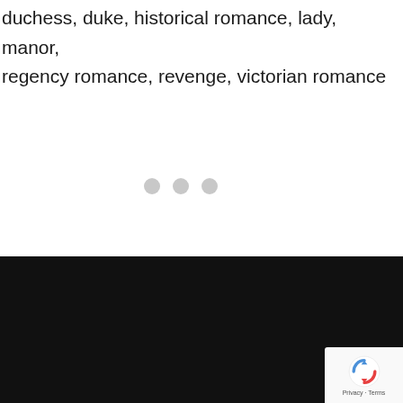duchess, duke, historical romance, lady, manor, regency romance, revenge, victorian romance
[Figure (other): Three light gray loading dots/circles in a row]
© Made with ♥ for Emma Linfield
Home  Books  ARC Team  Extended Epilogues  Privacy